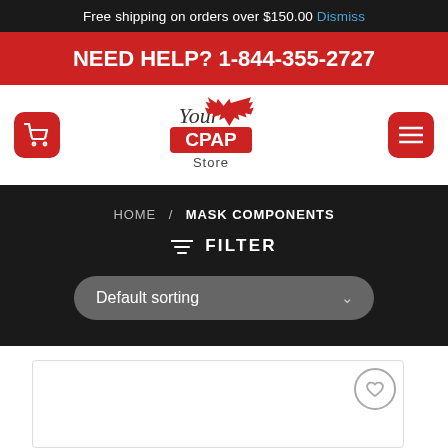Free shipping on orders over $150.00 Dismiss
NEED HELP? 1-844-355-2727
[Figure (logo): Your CPAP Store logo with maple leaf]
HOME / MASK COMPONENTS
≡ FILTER
Default sorting